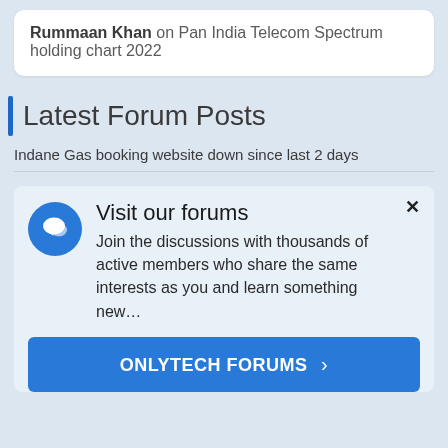Rummaan Khan on Pan India Telecom Spectrum holding chart 2022
Latest Forum Posts
Indane Gas booking website down since last 2 days
Visit our forums
Join the discussions with thousands of active members who share the same interests as you and learn something new…
ONLYTECH FORUMS >